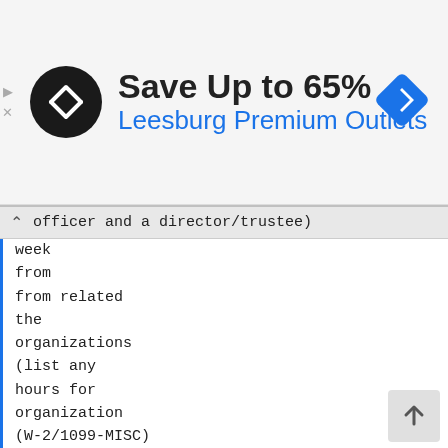[Figure (other): Advertisement banner for Leesburg Premium Outlets showing logo circle with arrows icon, text 'Save Up to 65% Leesburg Premium Outlets', and a blue diamond navigation icon on the right.]
officer and a director/trustee)
week
from
from related
the
organizations
(list any
hours for
organization
(W-2/1099-MISC)
(W-2/1099-MISC)
related
organizations
below
line)

(F)